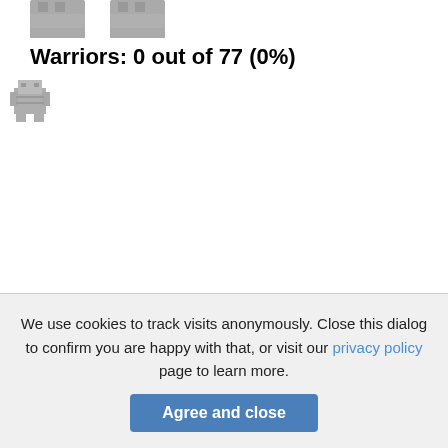[Figure (illustration): Two partially visible gray pixel-art warrior icons at top of page]
Warriors: 0 out of 77 (0%)
[Figure (illustration): Grid of approximately 40 gray pixel-art warrior/robot icons arranged in 5 rows of 8 columns]
We use cookies to track visits anonymously. Close this dialog to confirm you are happy with that, or visit our privacy policy page to learn more.
Agree and close